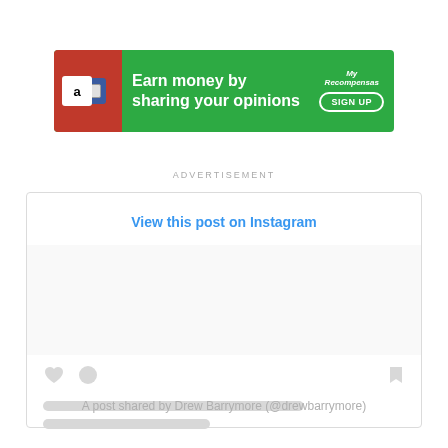[Figure (screenshot): Green advertisement banner: 'Earn money by sharing your opinions' with Amazon logo, credit card image, MyRecompensas logo, and SIGN UP button]
ADVERTISEMENT
[Figure (screenshot): Instagram embed placeholder showing 'View this post on Instagram' link, empty content area, heart/comment/bookmark icons, two gray loading lines, and caption 'A post shared by Drew Barrymore (@drewbarrymore)']